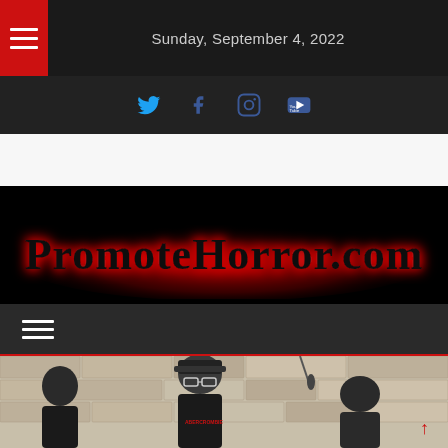Sunday, September 4, 2022
[Figure (illustration): Social media icons: Twitter (blue bird), Facebook (f), Instagram (camera), YouTube (play button)]
[Figure (logo): PromoteHorror.com logo — horror drip font in red glow on black background]
[Figure (photo): On-set photo of a man in a baseball cap and Abercrombie t-shirt standing in front of a stone wall, with crew members on either side]